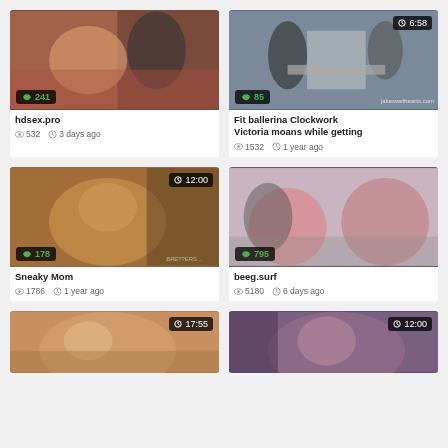[Figure (screenshot): Video thumbnail grid showing adult video website with 6 video cards in 2 columns. Cards show thumbnails, like counts, durations, titles, view counts, and upload times.]
hdsex.pro
532 views · 3 days ago
Fit ballerina Clockwork Victoria moans while getting
1532 views · 1 year ago
Sneaky Mom
1786 views · 1 year ago
beeg.surf
5180 views · 6 days ago